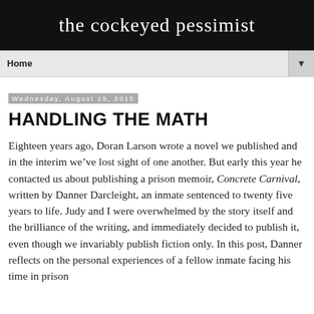the cockeyed pessimist
Home
Wednesday, August 19, 2015
HANDLING THE MATH
Eighteen years ago, Doran Larson wrote a novel we published and in the interim we’ve lost sight of one another. But early this year he contacted us about publishing a prison memoir, Concrete Carnival, written by Danner Darcleight, an inmate sentenced to twenty five years to life. Judy and I were overwhelmed by the story itself and the brilliance of the writing, and immediately decided to publish it, even though we invariably publish fiction only. In this post, Danner reflects on the personal experiences of a fellow inmate facing his time in prison